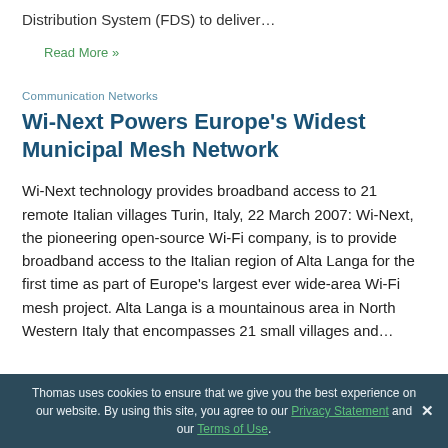Distribution System (FDS) to deliver…
Read More »
Communication Networks
Wi-Next Powers Europe's Widest Municipal Mesh Network
Wi-Next technology provides broadband access to 21 remote Italian villages Turin, Italy, 22 March 2007: Wi-Next, the pioneering open-source Wi-Fi company, is to provide broadband access to the Italian region of Alta Langa for the first time as part of Europe's largest ever wide-area Wi-Fi mesh project. Alta Langa is a mountainous area in North Western Italy that encompasses 21 small villages and...
Thomas uses cookies to ensure that we give you the best experience on our website. By using this site, you agree to our Privacy Statement and our Terms of Use.